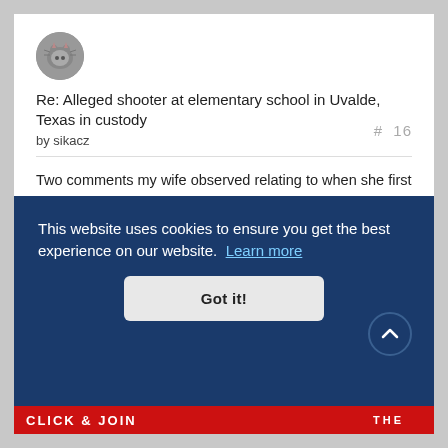[Figure (illustration): Circular avatar image of a cat]
Re: Alleged shooter at elementary school in Uvalde, Texas in custody
by sikacz
# 16
Two comments my wife observed relating to when she first moved to the US 25 years ago. She brought them up this morning. It seemed to her that we here glorify violence on the media and second everything seems to be geared primarily to 18 year old males. I added that even at the macro level we condone violence
This website uses cookies to ensure you get the best experience on our website. Learn more
Got it!